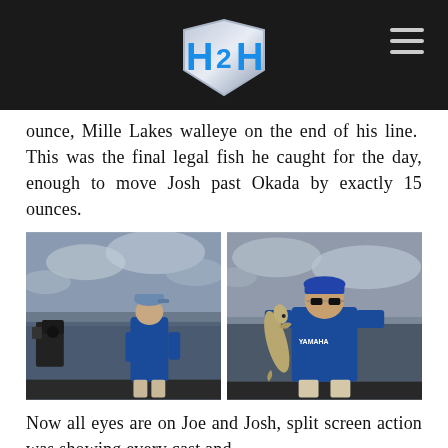H2H logo and navigation
ounce, Mille Lakes walleye on the end of his line. This was the final legal fish he caught for the day, enough to move Josh past Okada by exactly 15 ounces.
[Figure (photo): Two fishing photos side by side. Left: man in blue Yamaha jacket and cap standing on a boat on open water with a camera crew. Right: man in blue Yamaha jacket and sunglasses holding a large walleye fish on a boat.]
Now all eyes are on Joe and Josh, split screen action was showing every cast and